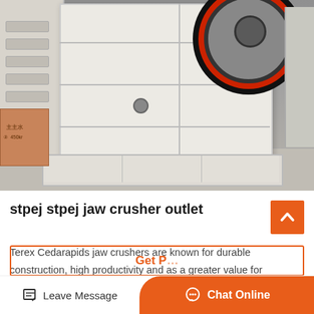[Figure (photo): Industrial jaw crusher machinery in a factory setting. Large white/cream colored jaw crusher units are lined up in a manufacturing facility. The front unit shows a red-rimmed flywheel on top right, heavy steel frame construction with ribbed side panels, and a concrete base. A cardboard box with Chinese writing is visible at lower left.]
stpej stpej jaw crusher outlet
Terex Cedarapids jaw crushers are known for durable construction, high productivity and as a greater value for investment. And now, the new JS Series jaw crushers are bu…
Get Price
Leave Message
Chat Online